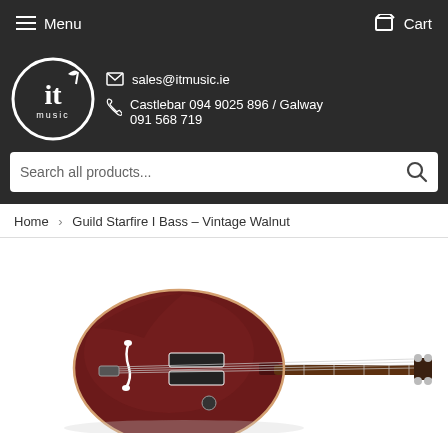Menu  Cart
[Figure (logo): IT Music logo — white circular design with 'it music' text on dark background]
sales@itmusic.ie
Castlebar 094 9025 896 / Galway 091 568 719
Search all products...
Home  >  Guild Starfire I Bass – Vintage Walnut
[Figure (photo): Guild Starfire I Bass guitar in Vintage Walnut (dark red/burgundy semi-hollow body) with a long neck extending to the right, shown against a white background]